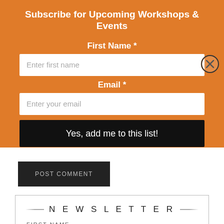Subscribe for Upcoming Workshops & Events
First Name *
Enter first name
Email *
Enter your email
Yes, add me to this list!
POST COMMENT
This site uses Akismet to reduce spam. Learn how your comment data is processed.
NEWSLETTER
FIRST NAME